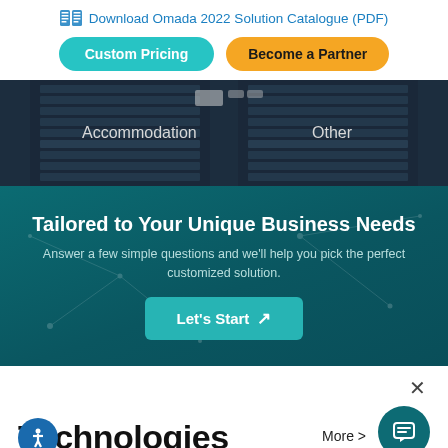Download Omada 2022 Solution Catalogue (PDF)
Custom Pricing
Become a Partner
Accommodation
Other
Tailored to Your Unique Business Needs
Answer a few simple questions and we'll help you pick the perfect customized solution.
Let's Start →
×
Technologies
More >